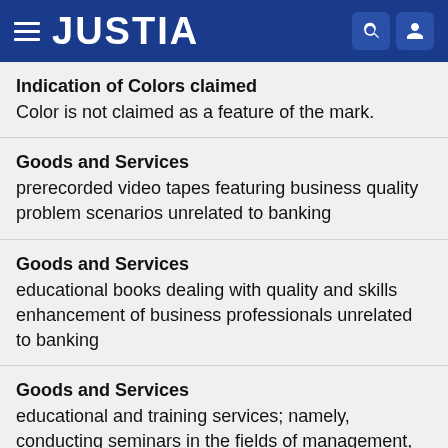JUSTIA
Indication of Colors claimed
Color is not claimed as a feature of the mark.
Goods and Services
prerecorded video tapes featuring business quality problem scenarios unrelated to banking
Goods and Services
educational books dealing with quality and skills enhancement of business professionals unrelated to banking
Goods and Services
educational and training services; namely, conducting seminars in the fields of management, supervisory and interpersonal skills outside of the hospital and banking fields